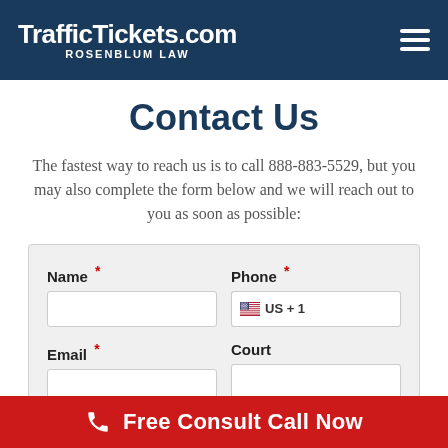TrafficTickets.com ROSENBLUM LAW
Contact Us
The fastest way to reach us is to call 888-883-5529, but you may also complete the form below and we will reach out to you as soon as possible:
[Figure (screenshot): Contact form with fields: Name (required), Phone (required, with US +1 country code selector), Email (required), Court, and Violation]
Free Consult Call Now